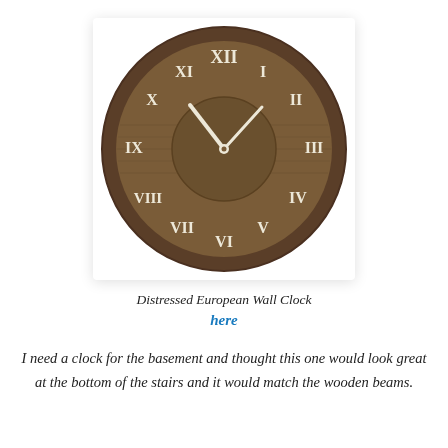[Figure (photo): A round distressed European wall clock with wooden face and cream/off-white Roman numerals and clock hands, photographed against a white background with a light shadow box frame.]
Distressed European Wall Clock here
I need a clock for the basement and thought this one would look great at the bottom of the stairs and it would match the wooden beams.